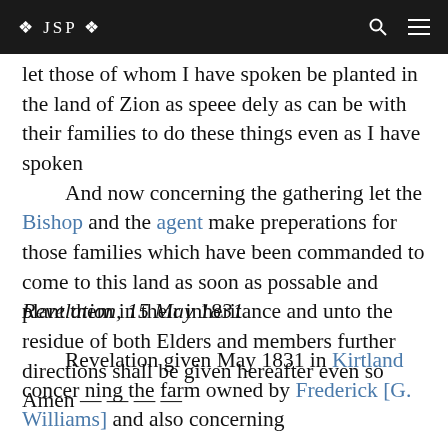❖ JSP ❖
let those of whom I have spoken be planted in the land of Zion as speee dely as can be with their families to do these things even as I have spoken And now concerning the gathering let the Bishop and the agent make preperations for those families which have been commanded to come to this land as soon as possable and plant them in their inheritance and unto the residue of both Elders and members further directions shall be given hereafter even so Amen — — — —
Revelation, 15 May 1831
Revelation given May 1831 in Kirtland concerning the farm owned by Frederick [G. Williams] and also concerning